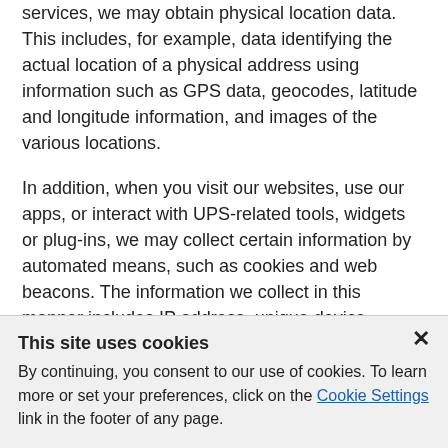services, we may obtain physical location data. This includes, for example, data identifying the actual location of a physical address using information such as GPS data, geocodes, latitude and longitude information, and images of the various locations.
In addition, when you visit our websites, use our apps, or interact with UPS-related tools, widgets or plug-ins, we may collect certain information by automated means, such as cookies and web beacons. The information we collect in this manner includes IP address, unique device identifier, browser characteristics, device characteristics, operating system, language preferences, referring URLs, information on actions taken, and dates and times of activity. A "cookie" is a text file that websites send to a
This site uses cookies
By continuing, you consent to our use of cookies. To learn more or set your preferences, click on the Cookie Settings link in the footer of any page.